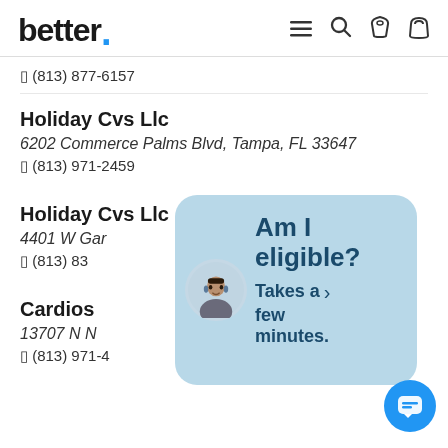better. [navigation icons: menu, search, phone, bag]
☎ (813) 877-6157
Holiday Cvs Llc
6202 Commerce Palms Blvd, Tampa, FL 33647
☎ (813) 971-2459
Holiday Cvs Llc
4401 W Gar[...]
☎ (813) 83[...]
Cardios[...]
13707 N N[...]3
☎ (813) 971-4[...]
[Figure (infographic): Chat popup overlay with avatar of person with headset, text 'Am I eligible? Takes a few minutes.' with arrow, and blue chat button in bottom right corner]